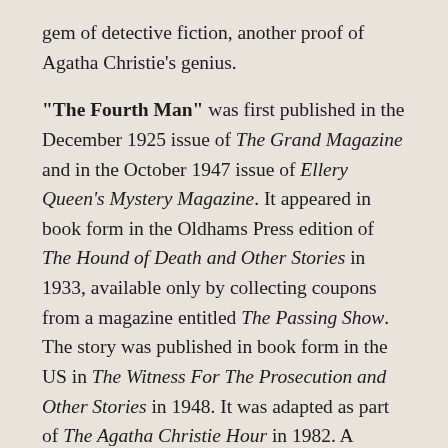gem of detective fiction, another proof of Agatha Christie's genius.
"The Fourth Man" was first published in the December 1925 issue of The Grand Magazine and in the October 1947 issue of Ellery Queen's Mystery Magazine. It appeared in book form in the Oldhams Press edition of The Hound of Death and Other Stories in 1933, available only by collecting coupons from a magazine entitled The Passing Show. The story was published in book form in the US in The Witness For The Prosecution and Other Stories in 1948. It was adapted as part of The Agatha Christie Hour in 1982. A canon, a lawyer and a psychiatrist find themselves together on a train bound for